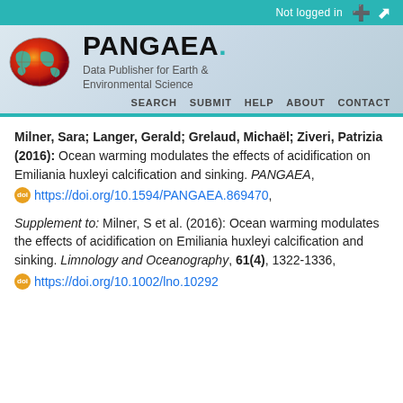Not logged in
[Figure (logo): PANGAEA globe logo — oval earth with red/orange gradient and teal land masses]
PANGAEA. Data Publisher for Earth & Environmental Science
SEARCH  SUBMIT  HELP  ABOUT  CONTACT
Milner, Sara; Langer, Gerald; Grelaud, Michaël; Ziveri, Patrizia (2016): Ocean warming modulates the effects of acidification on Emiliania huxleyi calcification and sinking. PANGAEA, https://doi.org/10.1594/PANGAEA.869470,
Supplement to: Milner, S et al. (2016): Ocean warming modulates the effects of acidification on Emiliania huxleyi calcification and sinking. Limnology and Oceanography, 61(4), 1322-1336, https://doi.org/10.1002/lno.10292